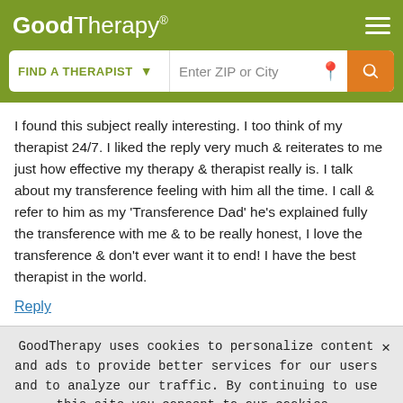GoodTherapy®
I found this subject really interesting. I too think of my therapist 24/7. I liked the reply very much & reiterates to me just how effective my therapy & therapist really is. I talk about my transference feeling with him all the time. I call & refer to him as my 'Transference Dad' he's explained fully the transference with me & to be really honest, I love the transference & don't ever want it to end! I have the best therapist in the world.
Reply
GoodTherapy uses cookies to personalize content and ads to provide better services for our users and to analyze our traffic. By continuing to use this site you consent to our cookies.